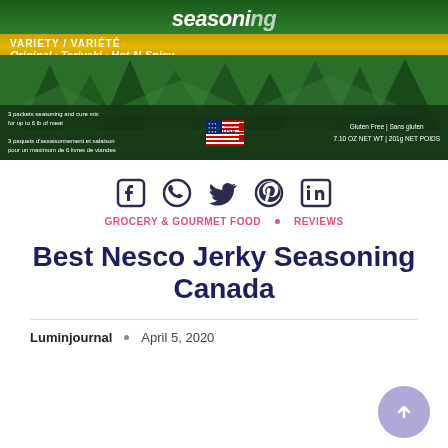[Figure (photo): Nesco Jerky Seasoning product packaging — variety pack (Original, Teriyaki, Hot-N-Spicy). Green forest background with gold banner. Text includes: VARIETY / VARIÉTÉ, Original · Teriyaki · Hot-N-Spicy, 3 packets seasoning and cure mix for up to 6 lb of meat, Made in USA, Gluten Free | Sans gluten, 7.10 OZ NET WT | 201g NET POIDS]
[Figure (infographic): Row of 5 social sharing icons: Facebook, WhatsApp, Twitter, Pinterest, LinkedIn — all dark navy color]
GROCERY & GOURMET FOOD  •  REVIEWS
Best Nesco Jerky Seasoning Canada
Luminjournal  •  April 5, 2020